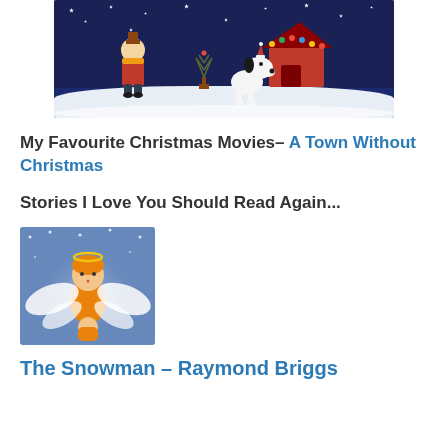[Figure (illustration): Charlie Brown Christmas illustration showing Charlie Brown and Snoopy standing in snow at night, with a small Christmas tree and Snoopy's red doghouse decorated with lights, stars in dark blue sky]
My Favourite Christmas Movies– A Town Without Christmas
Stories I Love You Should Read Again...
[Figure (illustration): Illustration of a small angel figure with orange/golden wings and hair, flying against a blue starry background]
The Snowman – Raymond Briggs